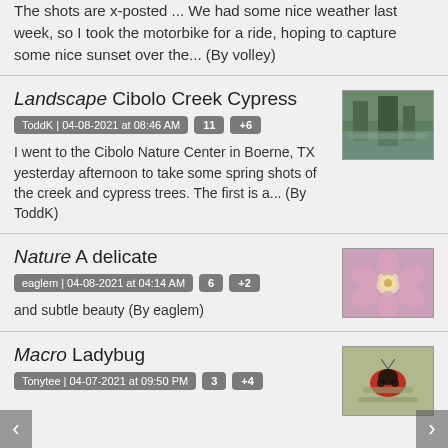The shots are x-posted ... We had some nice weather last week, so I took the motorbike for a ride, hoping to capture some nice sunset over the... (By volley)
Landscape Cibolo Creek Cypress
ToddK | 04-08-2021 at 08:46 AM   11   +6
[Figure (photo): Thumbnail photo of Cibolo Creek with cypress trees reflected in water]
I went to the Cibolo Nature Center in Boerne, TX yesterday afternoon to take some spring shots of the creek and cypress trees. The first is a... (By ToddK)
Nature A delicate
eaglem | 04-08-2021 at 04:14 AM   6   +2
[Figure (photo): Thumbnail photo of a delicate pink flower]
and subtle beauty (By eaglem)
Macro Ladybug
Tonytee | 04-07-2021 at 09:50 PM   3   +4
[Figure (photo): Thumbnail photo of a ladybug macro shot on a plant]